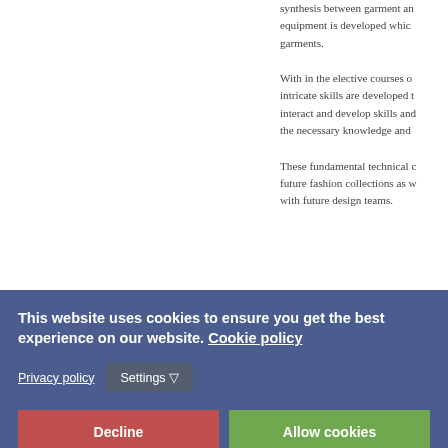synthesis between garment and equipment is developed which garments.
With in the elective courses of intricate skills are developed to interact and develop skills and the necessary knowledge and
These fundamental technical courses future fashion collections as well with future design teams.
In conjunction with above technical to Studio Art, Drawing, and Drawing knowledge and use of various development through the establishment.
To assist students in developing offers the course of History of depth understanding of how s
The program has been strate
[Figure (screenshot): Cookie consent banner with options: Privacy policy, Settings, Decline, Allow cookies]